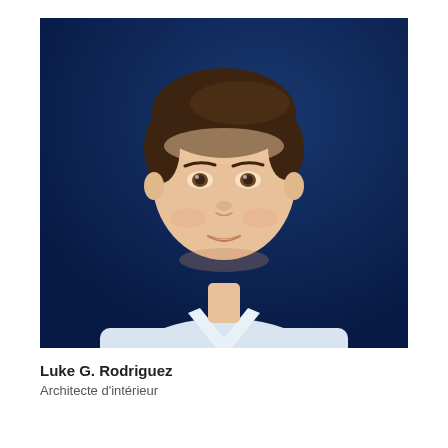[Figure (photo): Professional headshot of a young man with short dark brown hair, wearing a light blue/white dress shirt, posed against a dark navy blue background. He is smiling slightly and looking at the camera.]
Luke G. Rodriguez
Architecte d'intérieur